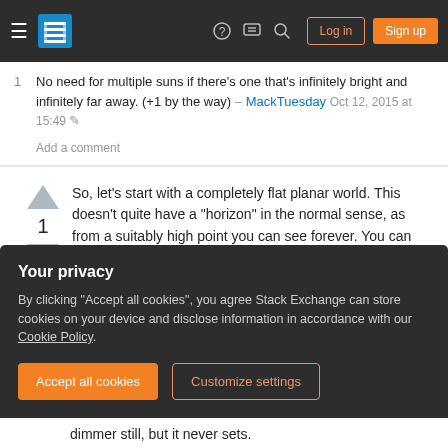Stack Exchange navigation header with Log in and Sign up buttons
1   No need for multiple suns if there's one that's infinitely bright and infinitely far away. (+1 by the way)
– MackTuesday Oct 12, 2015 at 15:49
Add a comment
So, let's start with a completely flat planar world. This doesn't quite have a "horizon" in the normal sense, as from a suitably high point you can see forever. You can only have a horizon on an infinite world with a cylindrical, parabolic or conic(!) world.
Your privacy
By clicking "Accept all cookies", you agree Stack Exchange can store cookies on your device and disclose information in accordance with our Cookie Policy.
Accept all cookies   Customize settings
dimmer still, but it never sets.